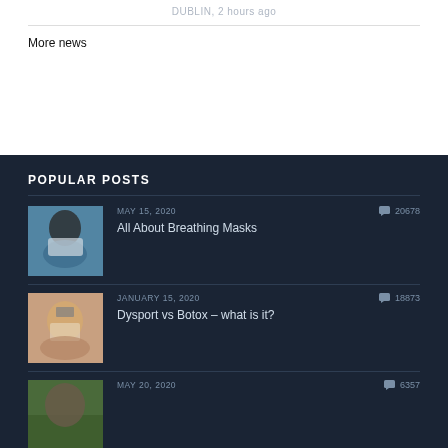DUBLIN, 2 hours ago
More news
POPULAR POSTS
MAY 15, 2020 | 20678 | All About Breathing Masks
JANUARY 15, 2020 | 18873 | Dysport vs Botox – what is it?
MAY 20, 2020 | 6357